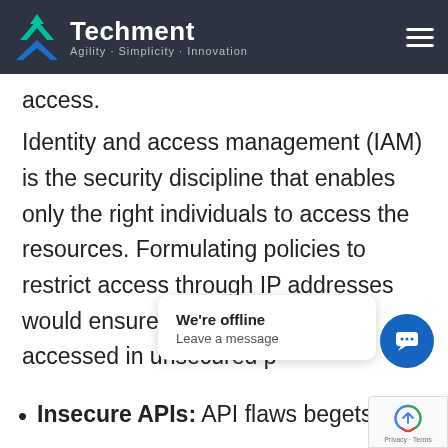Techment · Agility . Simplicity . Innovation
access.
Identity and access management (IAM) is the security discipline that enables only the right individuals to access the resources. Formulating policies to restrict access through IP addresses would ensure that no cloud data is accessed in unsecured p
Insecure APIs: API flaws begets threa